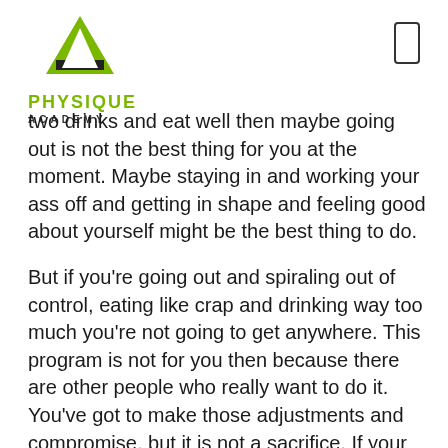[Figure (logo): Physique Academy logo with green A-shaped triangle icon, 'PHYSIQUE' in green bold text and 'ACADEMY' in dark spaced letters below]
two drinks and eat well then maybe going out is not the best thing for you at the moment. Maybe staying in and working your ass off and getting in shape and feeling good about yourself might be the best thing to do.
But if you're going out and spiraling out of control, eating like crap and drinking way too much you're not going to get anywhere. This program is not for you then because there are other people who really want to do it. You've got to make those adjustments and compromise, but it is not a sacrifice. If your friends and family are